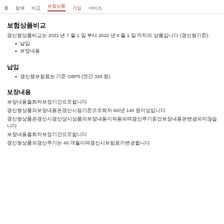홈 탐색 비교 보험상품 가입 서비스
보험상품비교
갱신형상품비교는 2021 년 7 월 1 일 부터 2022 년 9 월 1 일 까지의 상품입니다 (갱신형기준).
납입
보장내용
납입
갱신형보험료는 기준 GBP5 (연간 328 원)
보장내용
보장내용을최저보장기간으로합니다
갱신형상품의보장내용은갱신시점기준으로최저 60/년 140 원이상입니다
갱신형상품은갱신시갱신당시상품의보장내용이적용되며갱신주기동안보장내용은변경되지않습니다
보장내용을최저보장기간으로합니다
갱신형상품의갱신주기는 48 개월이며갱신시보험료가변경됩니다